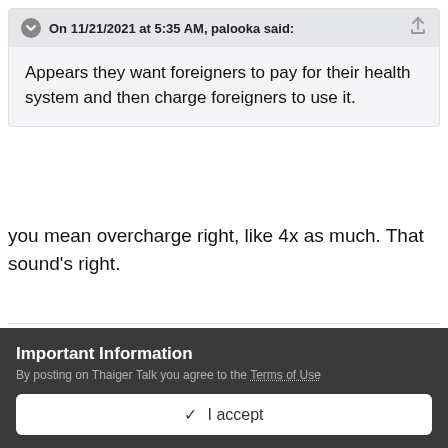On 11/21/2021 at 5:35 AM, palooka said:
Appears they want foreigners to pay for their health system and then charge foreigners to use it.
you mean overcharge right, like 4x as much. That sound's right.
Quote
Important Information
By posting on Thaiger Talk you agree to the Terms of Use
✓  I accept